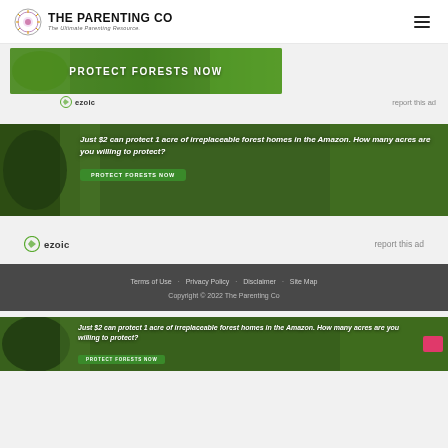THE PARENTING CO – The Ultimate Parenting Resource.
[Figure (infographic): Green banner ad with text PROTECT FORESTS NOW]
ezoic   report this ad
[Figure (infographic): Forest ad: Just $2 can protect 1 acre of irreplaceable forest homes in the Amazon. How many acres are you willing to protect? PROTECT FORESTS NOW]
ezoic   report this ad
Terms of Use  Privacy Policy  Disclaimer  Site Map
Copyright © 2022 The Parenting Co
[Figure (infographic): Bottom forest ad: Just $2 can protect 1 acre of irreplaceable forest homes in the Amazon. How many acres are you willing to protect? PROTECT FORESTS NOW]